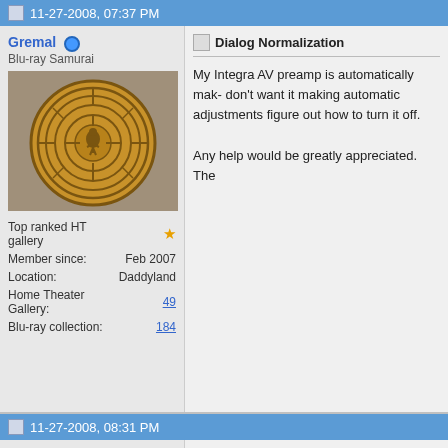11-27-2008, 07:37 PM
Gremal
Blu-ray Samurai
[Figure (photo): Avatar image of a circular wooden maze/labyrinth carving with a figure in the center]
| Top ranked HT gallery | ★ |
| Member since: | Feb 2007 |
| Location: | Daddyland |
| Home Theater Gallery: | 49 |
| Blu-ray collection: | 184 |
Dialog Normalization
My Integra AV preamp is automatically mak- don't want it making automatic adjustments figure out how to turn it off.

Any help would be greatly appreciated. The
11-27-2008, 08:31 PM
crackinhedz
Super Moderator
[Figure (photo): Avatar image showing a circular logo with a bear or animal figure]
what is the source of audio? dolby digital?